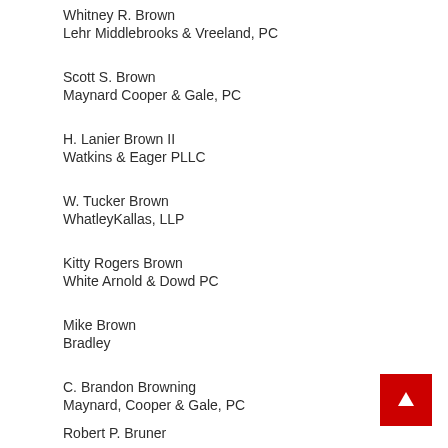Whitney R. Brown
Lehr Middlebrooks & Vreeland, PC
Scott S. Brown
Maynard Cooper & Gale, PC
H. Lanier Brown II
Watkins & Eager PLLC
W. Tucker Brown
WhatleyKallas, LLP
Kitty Rogers Brown
White Arnold & Dowd PC
Mike Brown
Bradley
C. Brandon Browning
Maynard, Cooper & Gale, PC
Robert P. Bruner